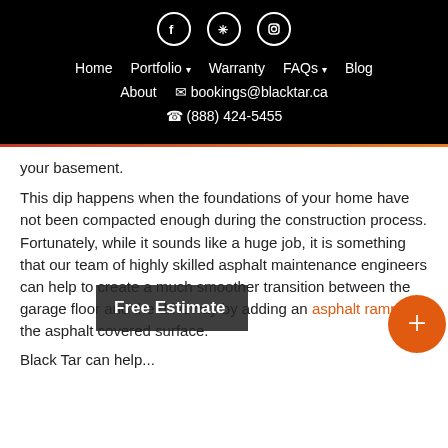Social icons: Facebook, Yelp, Instagram
Navigation: Home | Portfolio ▾ | Warranty | FAQs ▾ | Blog | About | bookings@blacktar.ca | (888) 424-5455
your basement.
This dip happens when the foundations of your home have not been compacted enough during the construction process. Fortunately, while it sounds like a huge job, it is something that our team of highly skilled asphalt maintenance engineers can help to create a much smoother transition between the garage floor and the driveway by adding an asphalt ramp to the asphalt covered surface.
Black Tar can help...